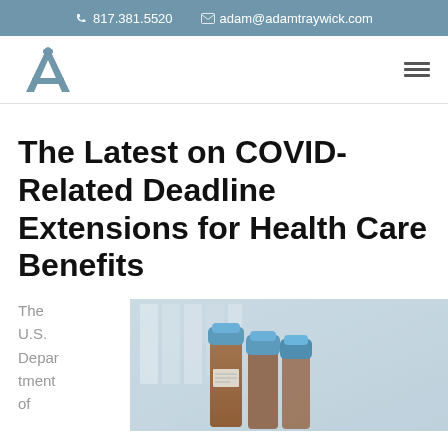817.381.5520   adam@adamtraywick.com
[Figure (logo): Adam Traywick logo - stylized letter A in blue-grey]
The Latest on COVID-Related Deadline Extensions for Health Care Benefits
The U.S. Department of
[Figure (photo): Medical blood sample vials with blue caps in a laboratory setting]